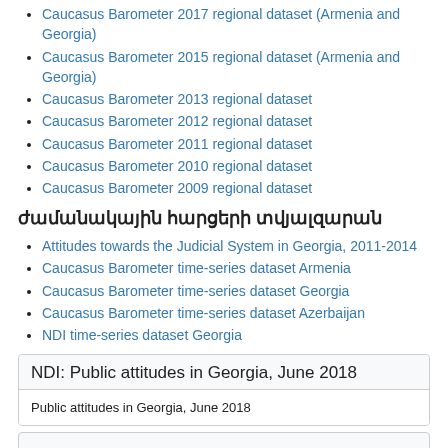Caucasus Barometer 2017 regional dataset (Armenia and Georgia)
Caucasus Barometer 2015 regional dataset (Armenia and Georgia)
Caucasus Barometer 2013 regional dataset
Caucasus Barometer 2012 regional dataset
Caucasus Barometer 2011 regional dataset
Caucasus Barometer 2010 regional dataset
Caucasus Barometer 2009 regional dataset
ժամանակային հարցերի տվյալզարան
Attitudes towards the Judicial System in Georgia, 2011-2014
Caucasus Barometer time-series dataset Armenia
Caucasus Barometer time-series dataset Georgia
Caucasus Barometer time-series dataset Azerbaijan
NDI time-series dataset Georgia
NDI: Public attitudes in Georgia, June 2018
Public attitudes in Georgia, June 2018